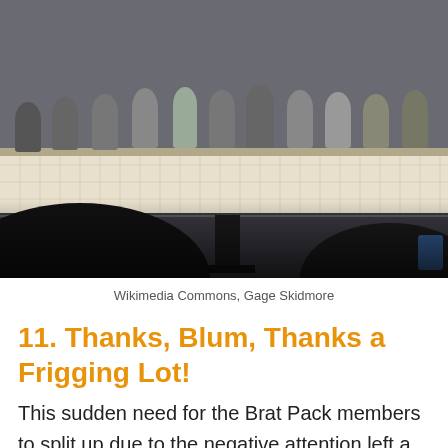[Figure (photo): A Comic-Con panel event showing a row of people (cast/crew) standing behind a long table with a Comic-Con branded tablecloth/backdrop, with audience silhouettes in the foreground.]
Wikimedia Commons, Gage Skidmore
11. Thanks, Blum, Thanks a Frigging Lot!
This sudden need for the Brat Pack members to split up due to the negative attention left a really sour taste in their